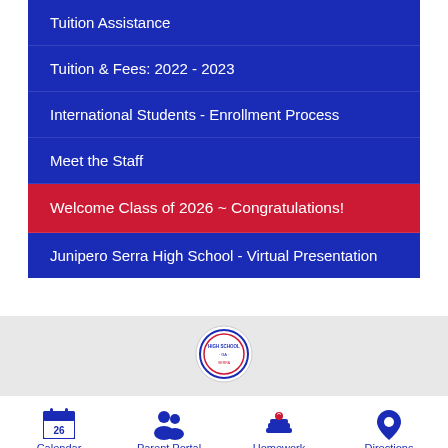Tuition Assistance
Tuition & Fees: 2022 - 2023
International Students - Enrollment Process
Meet the Staff
Welcome Class of 2026 ~ Congratulations!
Junipero Serra High School - Virtual Presentation
[Figure (logo): Junipero Serra High School circular seal/crest logo, partially visible at top of gray section]
Calendar
Parent Portal
Homework
Directions